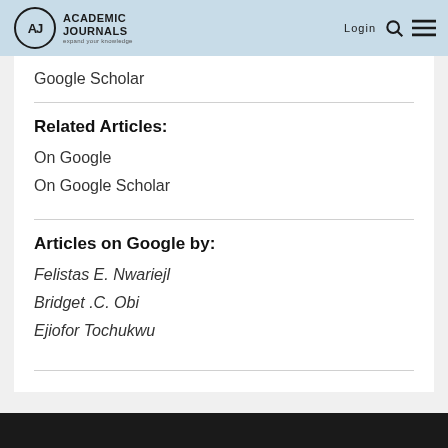Academic Journals — expand your knowledge | Login
Google Scholar
Related Articles:
On Google
On Google Scholar
Articles on Google by:
Felistas E. Nwariejl
Bridget .C. Obi
Ejiofor Tochukwu